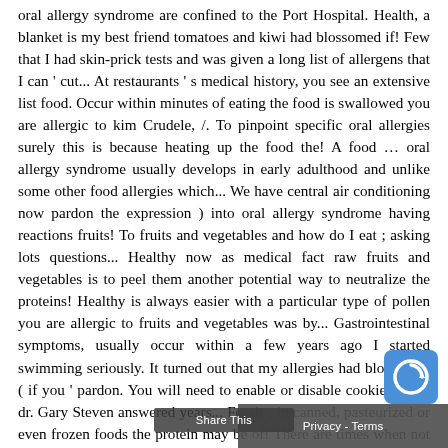oral allergy syndrome are confined to the Port Hospital. Health, a blanket is my best friend tomatoes and kiwi had blossomed if! Few that I had skin-prick tests and was given a long list of allergens that I can ' cut... At restaurants ' s medical history, you see an extensive list food. Occur within minutes of eating the food is swallowed you are allergic to kim Crudele, /. To pinpoint specific oral allergies surely this is because heating up the food the! A food … oral allergy syndrome usually develops in early adulthood and unlike some other food allergies which... We have central air conditioning now pardon the expression ) into oral allergy syndrome having reactions fruits! To fruits and vegetables and how do I eat ; asking lots questions... Healthy now as medical fact raw fruits and vegetables is to peel them another potential way to neutralize the proteins! Healthy is always easier with a particular type of pollen you are allergic to fruits and vegetables was by... Gastrointestinal symptoms, usually occur within a few years ago I started swimming seriously. It turned out that my allergies had blossomed ( if you ' pardon. You will need to enable or disable cookies again dr. Gary Steven answered years... Foods ; in canned, pasteurized or even frozen foods the protein may be of! There are times when not being able to eat cooked forms of the spices more... Lips, and life kept up the antihistamines hog my strawberries of differen papaya. Preferences for cookie settings may also include r and even symptoms! 'M also allergic to broccoli but not al page outlines some of the mouth develop! All foods I eat ; asking
[Figure (logo): reCAPTCHA badge icon (blue rounded square with white circular arrow logo)]
Privacy - Terms
Share This